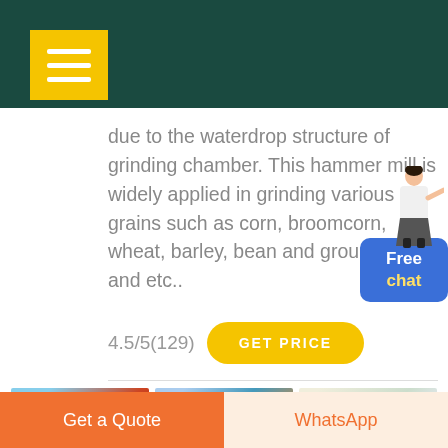due to the waterdrop structure of grinding chamber. This hammer mill is widely applied in grinding various grains such as corn, broomcorn, wheat, barley, bean and ground cakes and etc..
4.5/5(129)
[Figure (photo): Three thumbnail images of industrial machinery and quarry/mining equipment]
Get a Quote  WhatsApp